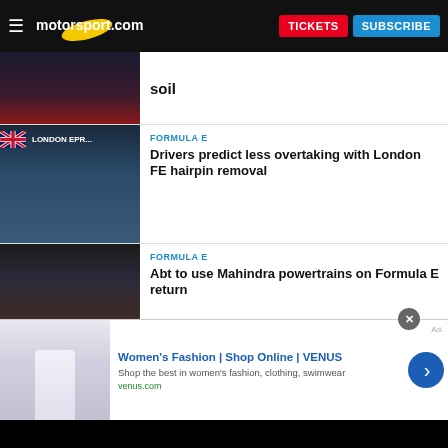motorsport.com | TICKETS | SUBSCRIBE
soil
FORMULA E
Drivers predict less overtaking with London FE hairpin removal
FORMULA E
Abt to use Mahindra powertrains on Formula E return
FORMULA E
The ex-F1 racer turned team boss adapting to a FE title fight
[Figure (other): Advertisement banner for Women's Fashion | Shop Online | VENUS. Shows a woman in white clothing. Text: 'Shop the best in women’s fashion, clothing, swimwear' and 'venus.com'. Has a blue arrow button and close icon.]